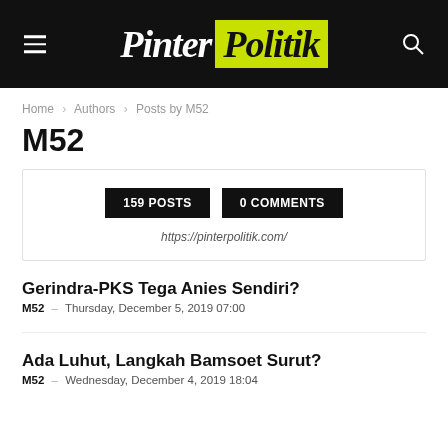Pinter Politik
Home › Authors › Posts by M52
M52
159 POSTS  0 COMMENTS  https://pinterpolitik.com/
Gerindra-PKS Tega Anies Sendiri?
M52 – Thursday, December 5, 2019 07:00
Ada Luhut, Langkah Bamsoet Surut?
M52 – Wednesday, December 4, 2019 18:04